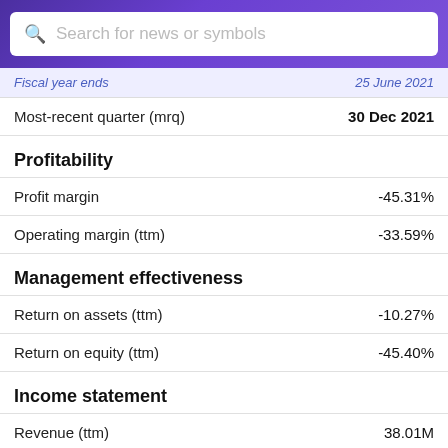[Figure (screenshot): Search bar with purple gradient background and white input field containing placeholder text 'Search for news or symbols']
Fiscal year ends   25 June 2021
Most-recent quarter (mrq)   30 Dec 2021
Profitability
Profit margin   -45.31%
Operating margin (ttm)   -33.59%
Management effectiveness
Return on assets (ttm)   -10.27%
Return on equity (ttm)   -45.40%
Income statement
Revenue (ttm)   38.01M
Revenue per share (ttm)   1.88